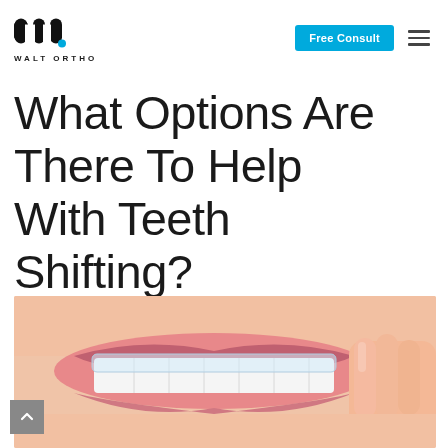WALT ORTHO
What Options Are There To Help With Teeth Shifting?
[Figure (photo): Close-up photo of a smiling person inserting or removing a clear dental aligner/retainer over their upper teeth, showing healthy white teeth and pink lips. Fingers visible holding the transparent aligner.]